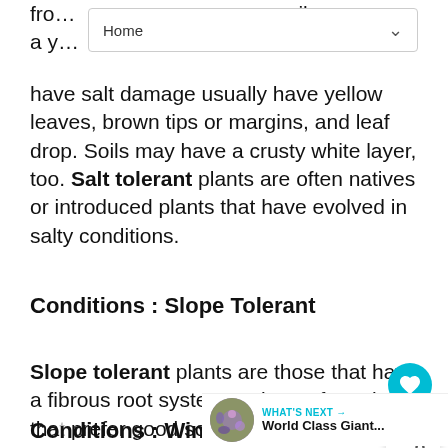fro... rail a y... nat have salt damage usually have yellow leaves, brown tips or margins, and leaf drop. Soils may have a crusty white layer, too. Salt tolerant plants are often natives or introduced plants that have evolved in salty conditions.
Conditions : Slope Tolerant
Slope tolerant plants are those that have a fibrous root system and are often plants that prefer good soil drainage. These plants assist in erosion control by stabilizing/holding the soil on slopes intact.
Conditions : Wind Tolerant